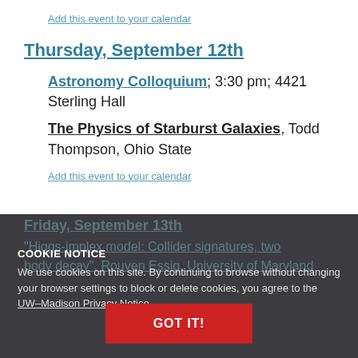Add this event to your calendar
Thursday, September 12th
Astronomy Colloquium; 3:30 pm; 4421 Sterling Hall
The Physics of Starburst Galaxies, Todd Thompson, Ohio State
Add this event to your calendar
Friday, September 13th
"Higgs-implex model: Collider signatures, two body decay". Rouven Essig, University of Maryland
COOKIE NOTICE
We use cookies on this site. By continuing to browse without changing your browser settings to block or delete cookies, you agree to the UW–Madison Privacy Notice.